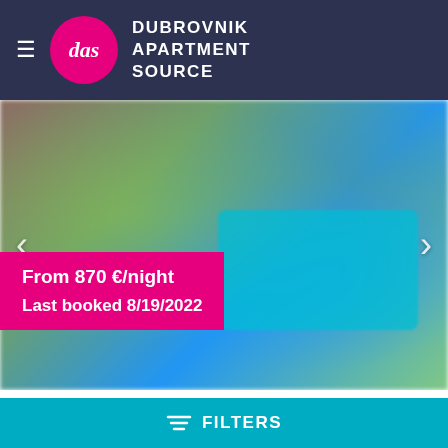Dubrovnik Apartment Source
[Figure (photo): Blurred outdoor photo of a villa with a swimming pool surrounded by tropical greenery. Navigation arrows on left and right. Pink overlay box showing price and last booking info.]
From 870 €/night
Last booked 8/19/2022
Villa Hedera II
10 Guests
5 Bedroom
4 Single bed
3 Double bed
FILTERS